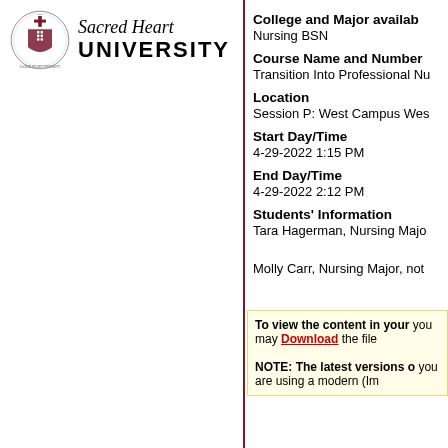[Figure (logo): Sacred Heart University seal and wordmark logo]
College and Major available: Nursing BSN
Course Name and Number: Transition Into Professional Nu...
Location: Session P: West Campus Wes...
Start Day/Time: 4-29-2022 1:15 PM
End Day/Time: 4-29-2022 2:12 PM
Students' Information: Tara Hagerman, Nursing Majo... Molly Carr, Nursing Major, not...
To view the content in your... you may Download the file...

NOTE: The latest versions... you are using a modern (Im...